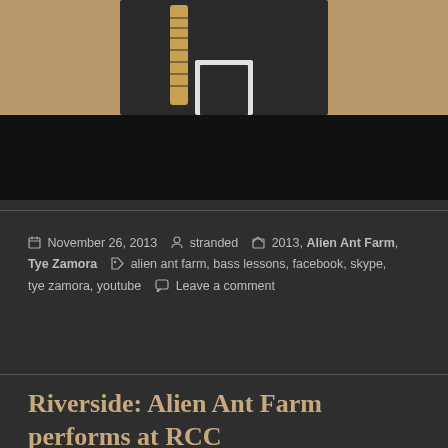[Figure (photo): Person holding a bass guitar, wearing dark clothing, photographed against a tan/wood background. Lower portion shows a black/dark area.]
November 26, 2013   stranded   2013, Alien Ant Farm, Tye Zamora   alien ant farm, bass lessons, facebook, skype, tye zamora, youtube   Leave a comment
Riverside: Alien Ant Farm performs at RCC